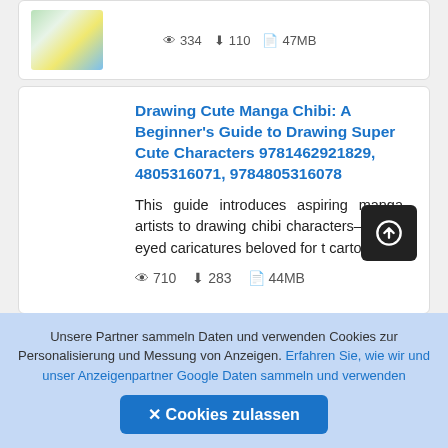[Figure (other): Book cover thumbnail with colorful illustration]
334  110  47MB
Drawing Cute Manga Chibi: A Beginner's Guide to Drawing Super Cute Characters 9781462921829, 4805316071, 9784805316078
This guide introduces aspiring manga artists to drawing chibi characters—wide-eyed caricatures beloved for t... cartoon
710  283  44MB
Unsere Partner sammeln Daten und verwenden Cookies zur Personalisierung und Messung von Anzeigen. Erfahren Sie, wie wir und unser Anzeigenpartner Google Daten sammeln und verwenden
✕ Cookies zulassen